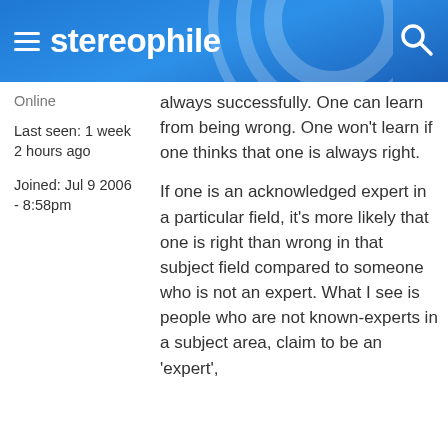stereophile
Online
Last seen: 1 week 2 hours ago
Joined: Jul 9 2006 - 8:58pm
always successfully. One can learn from being wrong. One won't learn if one thinks that one is always right.
If one is an acknowledged expert in a particular field, it's more likely that one is right than wrong in that subject field compared to someone who is not an expert. What I see is people who are not known-experts in a subject area, claim to be an 'expert',